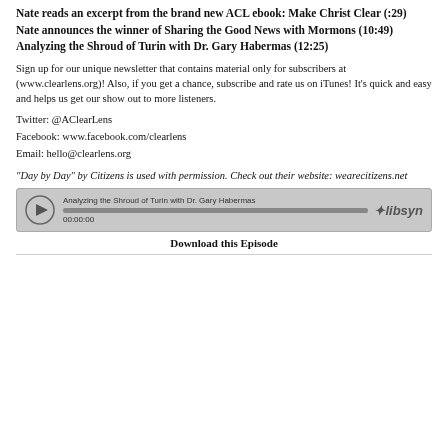Nate reads an excerpt from the brand new ACL ebook: Make Christ Clear (:29)
Nate announces the winner of Sharing the Good News with Mormons (10:49)
Analyzing the Shroud of Turin with Dr. Gary Habermas (12:25)
Sign up for our unique newsletter that contains material only for subscribers at (www.clearlens.org)! Also, if you get a chance, subscribe and rate us on iTunes! It's quick and easy and helps us get our show out to more listeners.
Twitter: @AClearLens
Facebook: www.facebook.com/clearlens
Email: hello@clearlens.org
"Day by Day" by Citizens is used with permission. Check out their website: wearecitizens.net
[Figure (other): Audio player widget for 'Analyzing the Shroud of Turin with Dr. Gary Habermas', showing play button, progress bar at 00:00:00, and Libsyn logo]
Download this Episode